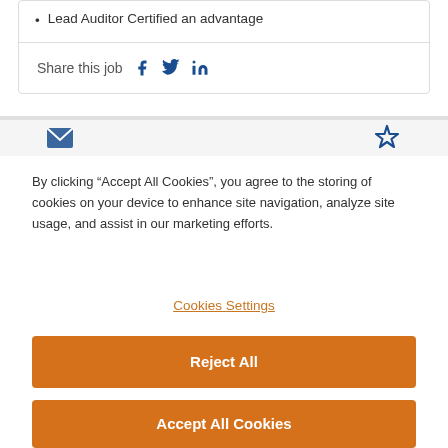Lead Auditor Certified an advantage
Share this job
By clicking “Accept All Cookies”, you agree to the storing of cookies on your device to enhance site navigation, analyze site usage, and assist in our marketing efforts.
Cookies Settings
Reject All
Accept All Cookies